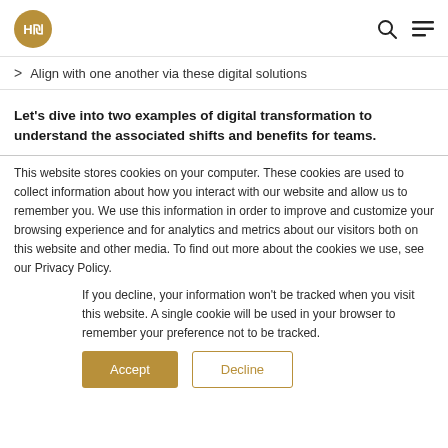HE [logo] | search | menu
> Align with one another via these digital solutions
Let's dive into two examples of digital transformation to understand the associated shifts and benefits for teams.
This website stores cookies on your computer. These cookies are used to collect information about how you interact with our website and allow us to remember you. We use this information in order to improve and customize your browsing experience and for analytics and metrics about our visitors both on this website and other media. To find out more about the cookies we use, see our Privacy Policy.
If you decline, your information won’t be tracked when you visit this website. A single cookie will be used in your browser to remember your preference not to be tracked.
Accept | Decline